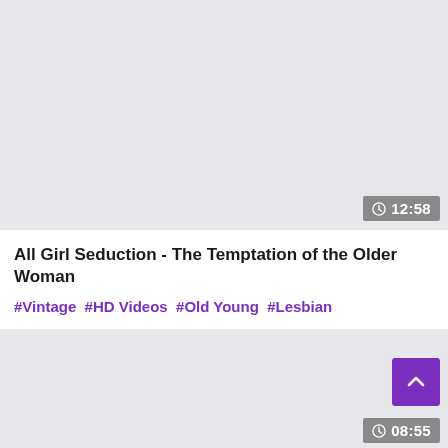[Figure (screenshot): Video thumbnail placeholder (light gray background) with duration badge showing 12:58 in bottom-right corner]
All Girl Seduction - The Temptation of the Older Woman
#Vintage #HD Videos #Old Young #Lesbian
[Figure (screenshot): Second video thumbnail placeholder (light gray background) with scroll-to-top purple button and duration badge showing 08:55 in bottom-right corner]